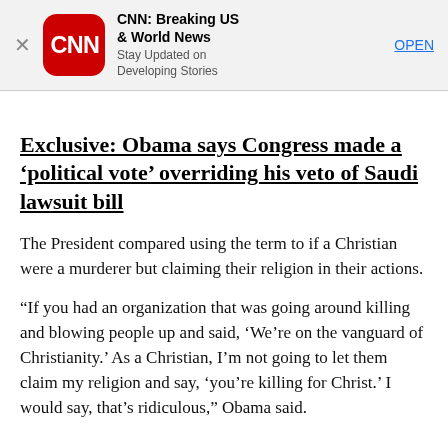[Figure (logo): CNN app advertisement banner with CNN logo (red rounded square with CNN text in white), app name 'CNN: Breaking US & World News', subtitle 'Stay Updated on Developing Stories', and an OPEN button]
Exclusive: Obama says Congress made a 'political vote' overriding his veto of Saudi lawsuit bill
The President compared using the term to if a Christian were a murderer but claiming their religion in their actions.
“If you had an organization that was going around killing and blowing people up and said, ‘We’re on the vanguard of Christianity.’ As a Christian, I’m not going to let them claim my religion and say, ‘you’re killing for Christ.’ I would say, that’s ridiculous,” Obama said.